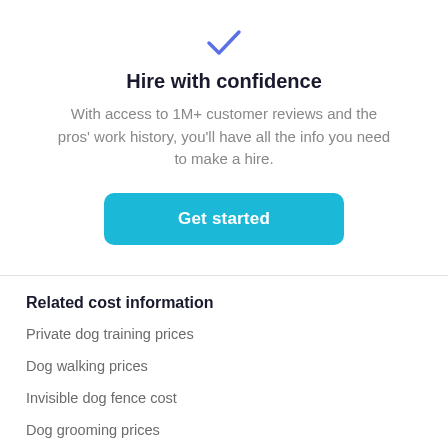[Figure (illustration): Blue checkmark icon centered at top of section]
Hire with confidence
With access to 1M+ customer reviews and the pros' work history, you'll have all the info you need to make a hire.
[Figure (other): Teal 'Get started' button]
Related cost information
Private dog training prices
Dog walking prices
Invisible dog fence cost
Dog grooming prices
Personal trainer cost
Show more